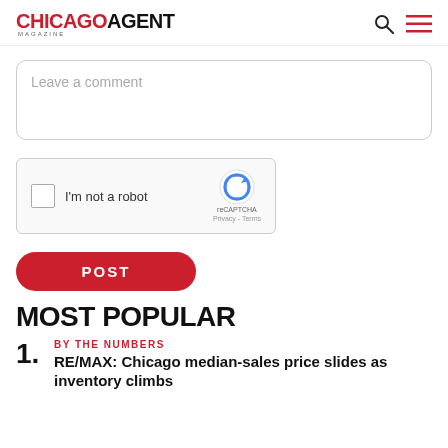CHICAGO AGENT MAGAZINE
Leave a comment
[Figure (other): reCAPTCHA widget with checkbox labeled I'm not a robot]
POST
MOST POPULAR
1. BY THE NUMBERS — RE/MAX: Chicago median-sales price slides as inventory climbs